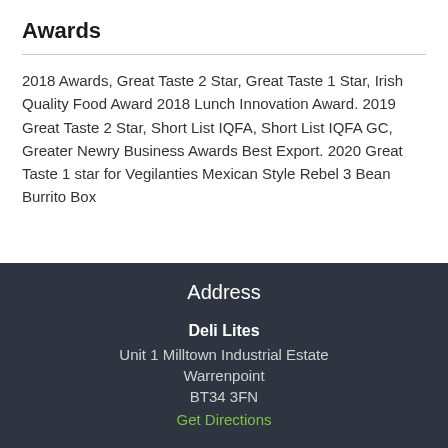Awards
2018 Awards, Great Taste 2 Star, Great Taste 1 Star, Irish Quality Food Award 2018 Lunch Innovation Award. 2019 Great Taste 2 Star, Short List IQFA, Short List IQFA GC, Greater Newry Business Awards Best Export. 2020 Great Taste 1 star for Vegilanties Mexican Style Rebel 3 Bean Burrito Box
Address
Deli Lites
Unit 1 Milltown Industrial Estate
Warrenpoint
BT34 3FN
Get Directions